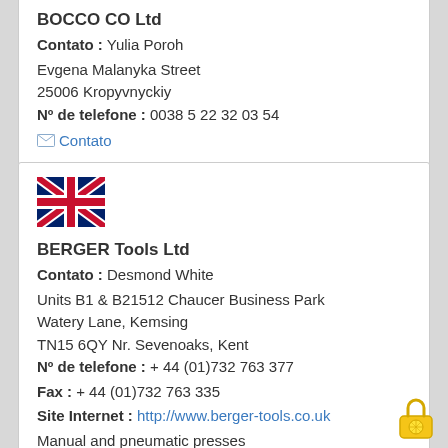BOCCO CO Ltd
Contato : Yulia Poroh
Evgena Malanyka Street
25006 Kropyvnyckiy
Nº de telefone : 0038 5 22 32 03 54
Contato
[Figure (illustration): UK Union Jack flag emoji]
BERGER Tools Ltd
Contato : Desmond White
Units B1 & B21512 Chaucer Business Park
Watery Lane, Kemsing
TN15 6QY Nr. Sevenoaks, Kent
Nº de telefone : + 44 (01)732 763 377
Fax : + 44 (01)732 763 335
Site Internet : http://www.berger-tools.co.uk
Manual and pneumatic presses
Contato